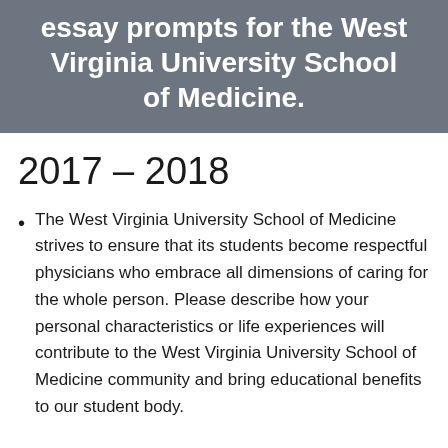essay prompts for the West Virginia University School of Medicine.
2017 – 2018
The West Virginia University School of Medicine strives to ensure that its students become respectful physicians who embrace all dimensions of caring for the whole person. Please describe how your personal characteristics or life experiences will contribute to the West Virginia University School of Medicine community and bring educational benefits to our student body.